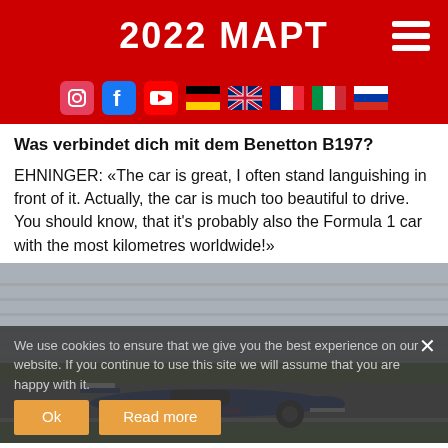2022 МАРТ
Was verbindet dich mit dem Benetton B197?
EHNINGER: «The car is great, I often stand languishing in front of it. Actually, the car is much too beautiful to drive. You should know, that it's probably also the Formula 1 car with the most kilometres worldwide!»
[Figure (photo): A Benetton B197 Formula 1 car racing on a circuit, with a cookie consent banner overlay at the bottom.]